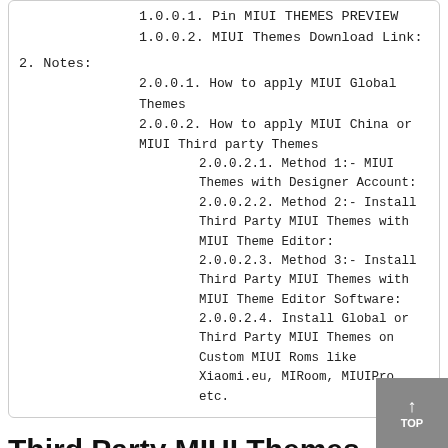1.0.0.1. Pin MIUI THEMES PREVIEW
1.0.0.2. MIUI Themes Download Link:
2. Notes:
2.0.0.1. How to apply MIUI Global Themes
2.0.0.2. How to apply MIUI China or MIUI Third party Themes
2.0.0.2.1. Method 1:- MIUI Themes with Designer Account:
2.0.0.2.2. Method 2:- Install Third Party MIUI Themes with MIUI Theme Editor:
2.0.0.2.3. Method 3:- Install Third Party MIUI Themes with MIUI Theme Editor Software:
2.0.0.2.4. Install Global or Third Party MIUI Themes on Custom MIUI Roms like Xiaomi.eu, MIRoom, MIUIProetc.
Third Party MIUI Themes
Hello XIAOMI MIUI User,
Today I am sharing brand new MIUI Themes for all MIUI devices. This MIUI Themes can change the look of your XIAOMI MI and POCO device to make it very attractive and delightful